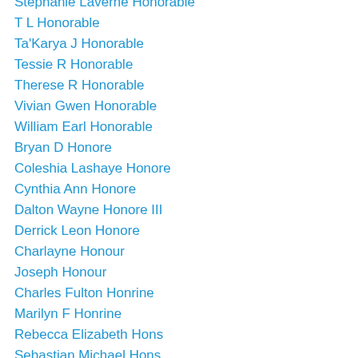Stephanie Laverne Honorable
T L Honorable
Ta'Karya J Honorable
Tessie R Honorable
Therese R Honorable
Vivian Gwen Honorable
William Earl Honorable
Bryan D Honore
Coleshia Lashaye Honore
Cynthia Ann Honore
Dalton Wayne Honore III
Derrick Leon Honore
Charlayne Honour
Joseph Honour
Charles Fulton Honrine
Marilyn F Honrine
Rebecca Elizabeth Hons
Sebastian Michael Hons